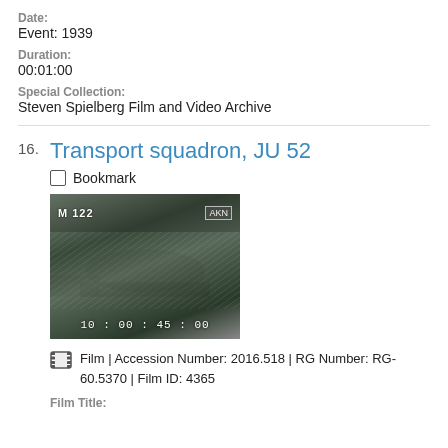Date:
Event: 1939
Duration:
00:01:00
Special Collection:
Steven Spielberg Film and Video Archive
16. Transport squadron, JU 52
Bookmark
[Figure (photo): Black and white film still showing M 122 label at top left, AKN text at top right, timecode 10:00:45:00 at bottom]
Film | Accession Number: 2016.518 | RG Number: RG-60.5370 | Film ID: 4365
Film Title: